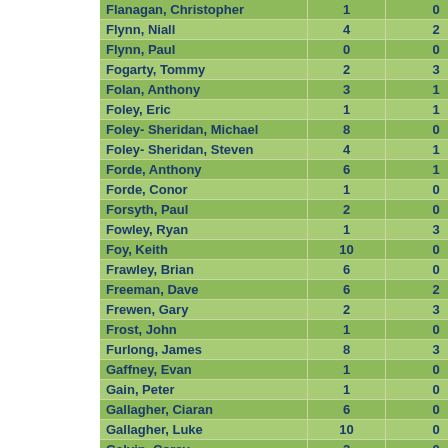| Name | Col2 | Col3 |
| --- | --- | --- |
| Flanagan, Christopher | 1 | 0 |
| Flynn, Niall | 4 | 2 |
| Flynn, Paul | 0 | 0 |
| Fogarty, Tommy | 2 | 3 |
| Folan, Anthony | 3 | 1 |
| Foley, Eric | 1 | 1 |
| Foley- Sheridan, Michael | 8 | 0 |
| Foley- Sheridan, Steven | 4 | 1 |
| Forde, Anthony | 6 | 1 |
| Forde, Conor | 1 | 0 |
| Forsyth, Paul | 2 | 0 |
| Fowley, Ryan | 1 | 3 |
| Foy, Keith | 10 | 0 |
| Frawley, Brian | 6 | 0 |
| Freeman, Dave | 6 | 2 |
| Frewen, Gary | 2 | 3 |
| Frost, John | 1 | 0 |
| Furlong, James | 8 | 3 |
| Gaffney, Evan | 1 | 0 |
| Gain, Peter | 1 | 0 |
| Gallagher, Ciaran | 6 | 0 |
| Gallagher, Luke | 10 | 0 |
| Galvin, Corey | 2 | 0 |
| Galvin, Evan | 1 | 0 |